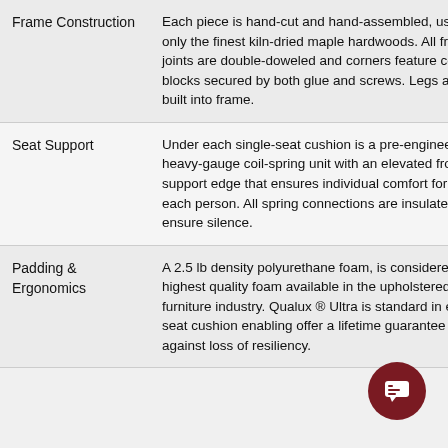| Feature | Description |
| --- | --- |
| Frame Construction | Each piece is hand-cut and hand-assembled, using only the finest kiln-dried maple hardwoods. All frame joints are double-doweled and corners feature corner blocks secured by both glue and screws. Legs are built into frame. |
| Seat Support | Under each single-seat cushion is a pre-engineered, heavy-gauge coil-spring unit with an elevated front support edge that ensures individual comfort for each person. All spring connections are insulated to ensure silence. |
| Padding & Ergonomics | A 2.5 lb density polyurethane foam, is considered the highest quality foam available in the upholstered furniture industry. Qualux ® Ultra is standard in every seat cushion enabling offer a lifetime guarantee against loss of resiliency. |